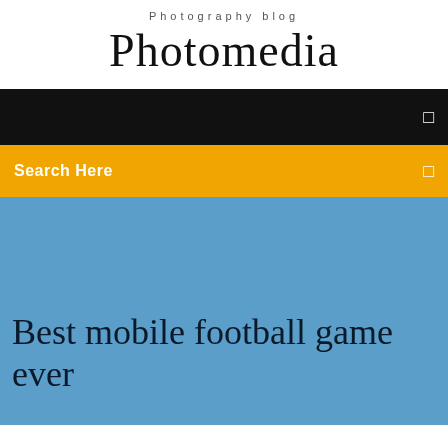Photography blog
Photomedia
☰
Search Here
Best mobile football game ever